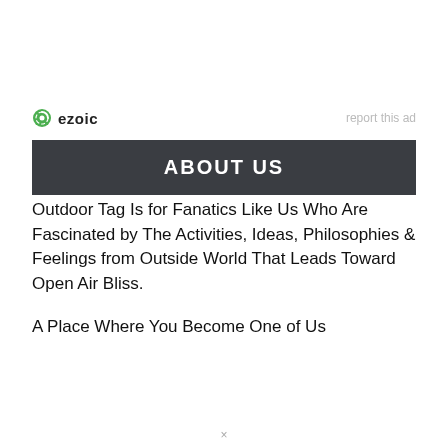[Figure (logo): Ezoic logo with green circular icon and bold 'ezoic' text, plus 'report this ad' link on right]
ABOUT US
Outdoor Tag Is for Fanatics Like Us Who Are Fascinated by The Activities, Ideas, Philosophies & Feelings from Outside World That Leads Toward Open Air Bliss.
A Place Where You Become One of Us
LEARN MORE